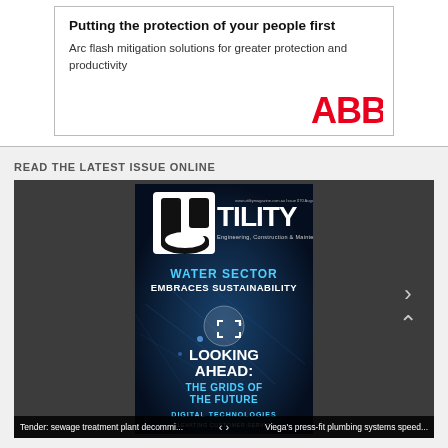[Figure (illustration): ABB advertisement box with bold headline 'Putting the protection of your people first', subtext 'Arc flash mitigation solutions for greater protection and productivity', and red ABB logo]
READ THE LATEST ISSUE ONLINE
[Figure (screenshot): Utility Engineering, Construction & Maintenance magazine cover showing 'WATER SECTOR EMBRACES SUSTAINABILITY' and 'LOOKING AHEAD: THE GRIDS OF THE FUTURE' and 'DIGITAL TECHNOLOGIES ELEVATING CUSTOMER SERVICE' with navigation arrows and a bottom bar showing article teasers]
Tender: sewage treatment plant decommi... < > Viega's press-fit plumbing systems speed...